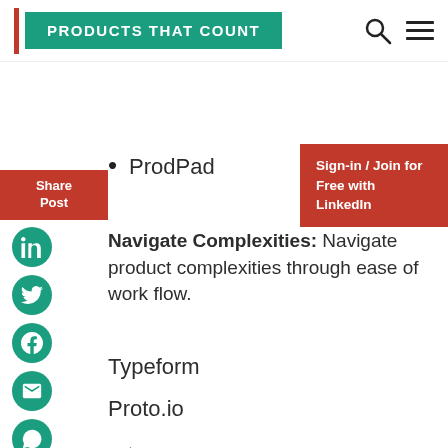PRODUCTS THAT COUNT
ProdPad
Navigate Complexities: Navigate product complexities through ease of work flow.
Typeform
Proto.io
Filestage
MarvelApp
[Figure (infographic): Share Post sidebar with social media icons: LinkedIn, Twitter, Facebook, Email, WhatsApp]
Sign-in / Join for Free with LinkedIn